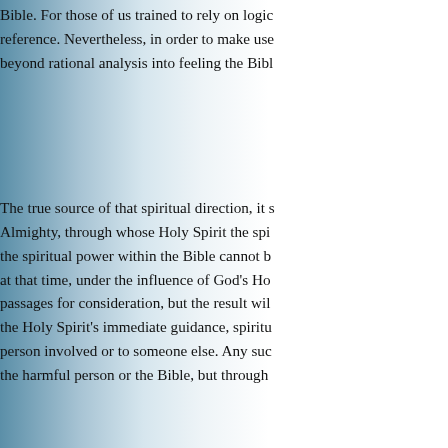Bible. For those of us trained to rely on logic and reason as our reference. Nevertheless, in order to make use of beyond rational analysis into feeling the Bibl...
The true source of that spiritual direction, it s... Almighty, through whose Holy Spirit the spi... the spiritual power within the Bible cannot b... at that time, under the influence of God's Ho... passages for consideration, but the result wil... the Holy Spirit's immediate guidance, spiritu... person involved or to someone else. Any suc... the harmful person or the Bible, but through...
There are many ways to strengthen one's com... centuries ago remain true for each of us toda... condition." God is ready at any time to enter ... 3:20). Neither the Bible nor any other person... inspiration coming through the Bible provide...
One part of the Bible through which people c... Psalms. Reading a favorite psalm or opening...